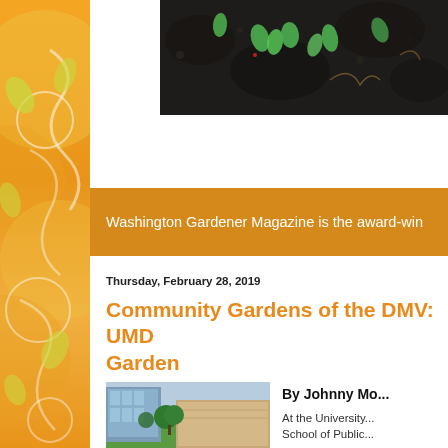[Figure (photo): Close-up photo of dark soil with small green seedlings emerging]
Washington Gardener Magazine is the award-win...
Thursday, February 28, 2019
Community Gardens of the DMV: UMD... Garden
[Figure (photo): Photo of a university building with green lawn and trees]
By Johnny Mo...
At the University... School of Public...